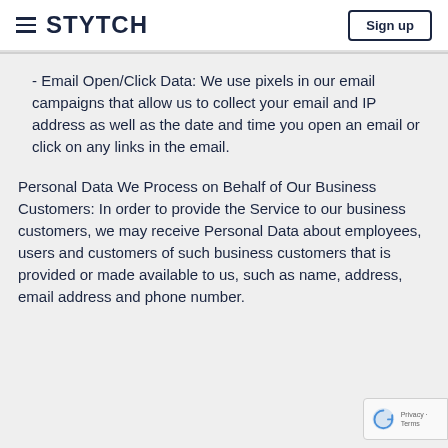STYTCH | Sign up
- Email Open/Click Data: We use pixels in our email campaigns that allow us to collect your email and IP address as well as the date and time you open an email or click on any links in the email.
Personal Data We Process on Behalf of Our Business Customers: In order to provide the Service to our business customers, we may receive Personal Data about employees, users and customers of such business customers that is provided or made available to us, such as name, address, email address and phone number.